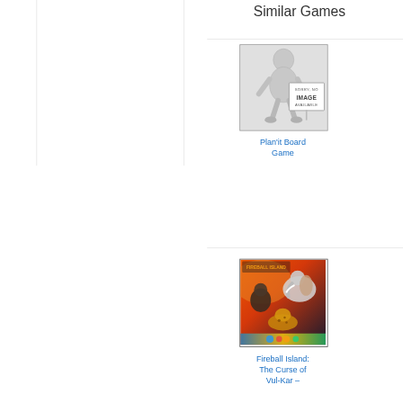Similar Games
[Figure (photo): No image available placeholder showing a 3D figure holding a sign that reads SORRY, NO IMAGE AVAILABLE]
Plan'it Board Game
[Figure (photo): Fireball Island: The Curse of Vul-Kar board game cover image showing animals and colorful art]
Fireball Island: The Curse of Vul-Kar –